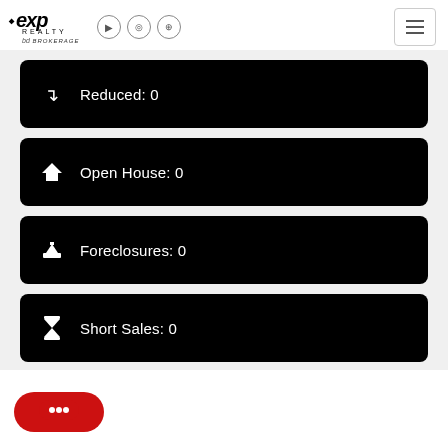eXp Realty logo with social icons and hamburger menu
Reduced: 0
Open House: 0
Foreclosures: 0
Short Sales: 0